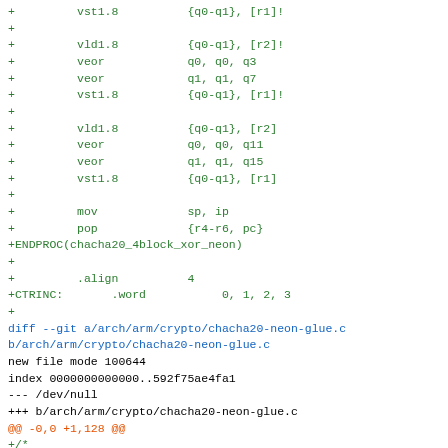Assembly and C diff code snippet showing chacha20 NEON implementation additions including vst1.8, vld1.8, veor, mov, pop instructions followed by ENDPROC, .align, CTRINC directives and diff header for chacha20-neon-glue.c